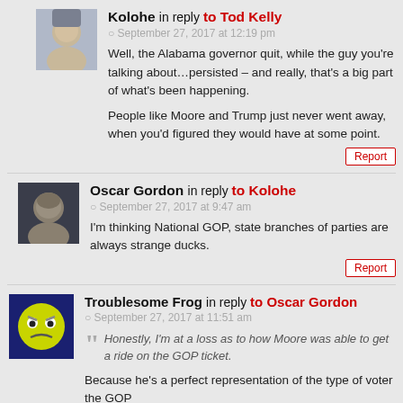Kolohe in reply to Tod Kelly
September 27, 2017 at 12:19 pm
Well, the Alabama governor quit, while the guy you're talking about…persisted – and really, that's a big part of what's been happening.
People like Moore and Trump just never went away, when you'd figured they would have at some point.
Oscar Gordon in reply to Kolohe
September 27, 2017 at 9:47 am
I'm thinking National GOP, state branches of parties are always strange ducks.
Troublesome Frog in reply to Oscar Gordon
September 27, 2017 at 11:51 am
Honestly, I'm at a loss as to how Moore was able to get a ride on the GOP ticket.
Because he's a perfect representation of the type of voter the GOP